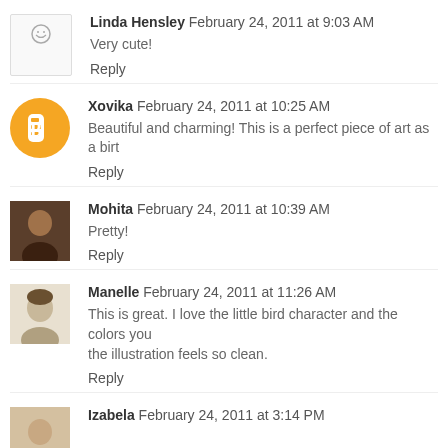Linda Hensley  February 24, 2011 at 9:03 AM
Very cute!
Reply
Xovika  February 24, 2011 at 10:25 AM
Beautiful and charming! This is a perfect piece of art as a birt...
Reply
Mohita  February 24, 2011 at 10:39 AM
Pretty!
Reply
Manelle  February 24, 2011 at 11:26 AM
This is great. I love the little bird character and the colors you... the illustration feels so clean.
Reply
Izabela  February 24, 2011 at 3:14 PM